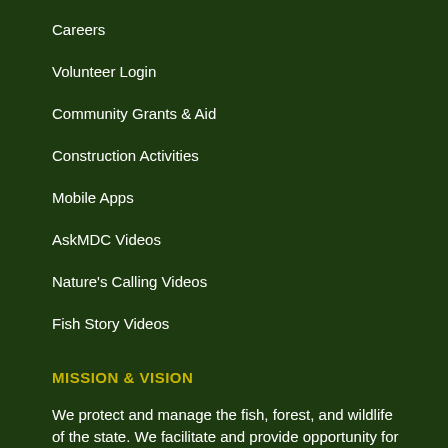Careers
Volunteer Login
Community Grants & Aid
Construction Activities
Mobile Apps
AskMDC Videos
Nature's Calling Videos
Fish Story Videos
MISSION & VISION
We protect and manage the fish, forest, and wildlife of the state. We facilitate and provide opportunity for all citizens to use, enjoy, and learn about these resources.